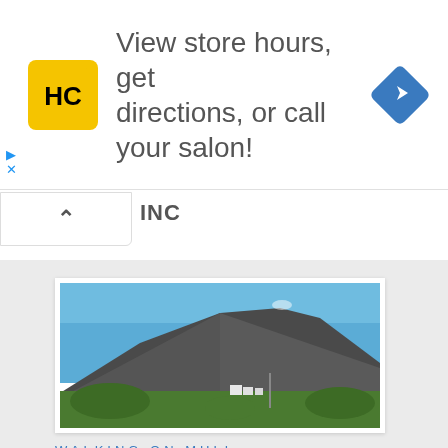[Figure (other): Advertisement banner with HC salon logo (yellow square with HC letters) and text 'View store hours, get directions, or call your salon!' with blue navigation diamond icon on the right]
[Figure (photo): Photograph of a mountain (on the Isle of Mull) with a blue sky, green foreground vegetation, and white buildings at the base]
WALKING ON MULL
Suggested list of walks and excursions